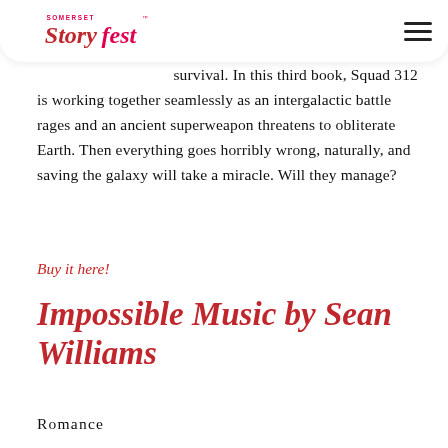Somerset Storyfest
survival. In this third book, Squad 312 is working together seamlessly as an intergalactic battle rages and an ancient superweapon threatens to obliterate Earth. Then everything goes horribly wrong, naturally, and saving the galaxy will take a miracle. Will they manage?
Buy it here!
Impossible Music by Sean Williams
Romance